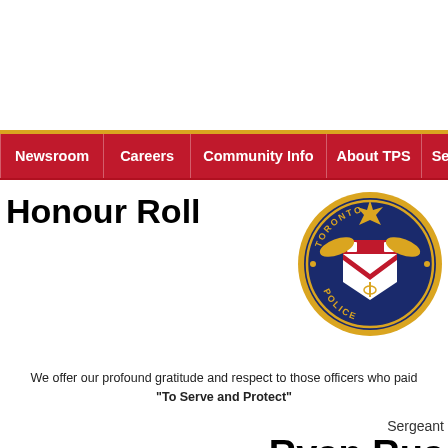Newsroom | Careers | Community Info | About TPS | Services
Honour Roll
[Figure (logo): Toronto Police Service badge/crest — circular badge with navy blue background, gold border, featuring a shield with red chevron, maple leaves, and text 'TORONTO POLICE']
We offer our profound gratitude and respect to those officers who paid the ultimate sacrifice in their efforts "To Serve and Protect"
Sergeant
Ryan Rus...
On January 12, 2011 Sergeant Ryan Russell attempting to stop the driver of Davenport Rd. The six-month sergeant later succumbed to his injuries in hospital [in] a very dangerous situation, and � put his life on the line, and tragically has �This is the worst of days for the To A man was later arrested by police in the area...